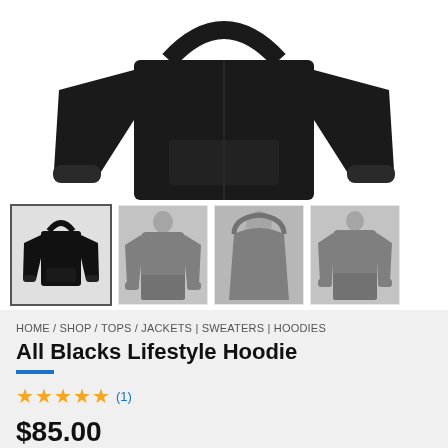[Figure (photo): Main product photo of a black hoodie/sweatshirt shown from front on white background, top portion visible]
[Figure (photo): Four thumbnail images of the All Blacks Lifestyle Hoodie: 1st selected thumbnail showing black hoodie full front, 2nd showing person wearing dark hoodie from front, 3rd showing close-up of hoodie worn by person, 4th showing person wearing hoodie from back/side]
HOME / SHOP / TOPS / JACKETS | SWEATERS | HOODIES
All Blacks Lifestyle Hoodie
★★★★★ (1)
$85.00